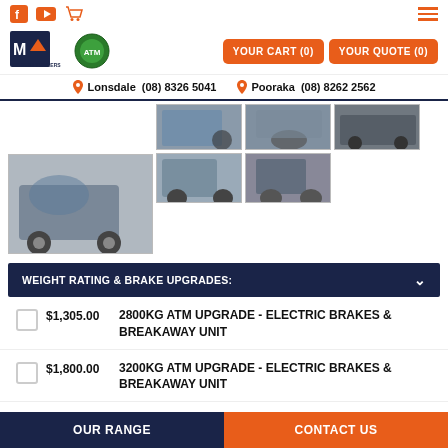Modern Trailers - YOUR CART (0) YOUR QUOTE (0)
Lonsdale (08) 8326 5041  Pooraka (08) 8262 2562
[Figure (photo): Gallery of trailer product photos - multiple angles showing water/fuel trailers]
WEIGHT RATING & BRAKE UPGRADES:
$1,305.00  2800KG ATM UPGRADE - ELECTRIC BRAKES & BREAKAWAY UNIT
$1,800.00  3200KG ATM UPGRADE - ELECTRIC BRAKES & BREAKAWAY UNIT
OUR RANGE  CONTACT US